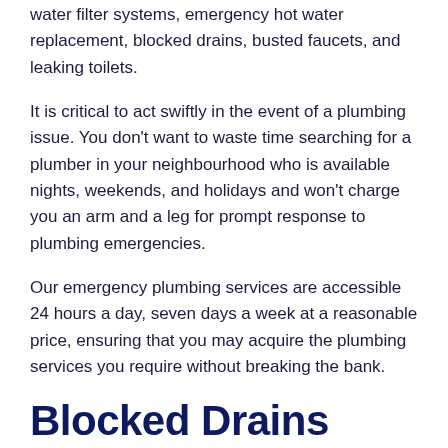water filter systems, emergency hot water replacement, blocked drains, busted faucets, and leaking toilets.
It is critical to act swiftly in the event of a plumbing issue. You don't want to waste time searching for a plumber in your neighbourhood who is available nights, weekends, and holidays and won't charge you an arm and a leg for prompt response to plumbing emergencies.
Our emergency plumbing services are accessible 24 hours a day, seven days a week at a reasonable price, ensuring that you may acquire the plumbing services you require without breaking the bank.
Blocked Drains
Sewer Surgeon, the blocked drain Sydney specialists, are highly qualified professionals who specialise in unclogging